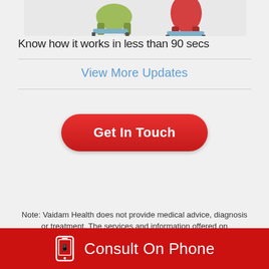[Figure (illustration): Partial illustration showing two cartoon figures seated in chairs at the top of the page]
Know how it works in less than 90 secs
View More Updates
[Figure (other): Red rounded-rectangle button with white bold text 'Get In Touch']
Note: Vaidam Health does not provide medical advice, diagnosis or treatment. The services and information offered on www.vaidam.com are intended solely for informational purposes and cannot replace the professional consultation or treatment by a physician. Vaidam Health discourages copying, cloning of its webpages and its content and it will follow the legal procedures to protect its intellectual property
Consult On Phone